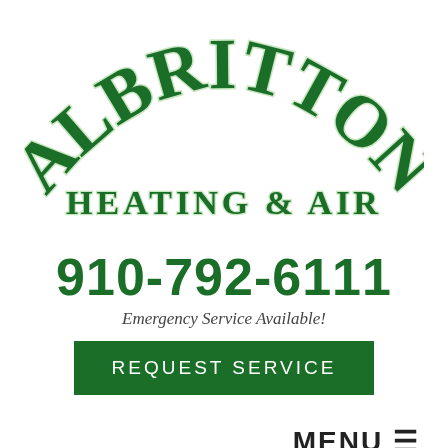[Figure (logo): Albritton Heating & Air company logo with arched green serif text 'ALBRITTON' above 'HEATING & AIR']
910-792-6111
Emergency Service Available!
REQUEST SERVICE
MENU ☰
Commercial